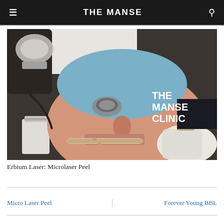THE MANSE
[Figure (photo): A patient lying back receiving an Erbium laser microlaser peel treatment. A medical professional in white gloves holds a wooden spatula near the patient's face. The patient wears protective eye shields and a blue surgical cap. Medical equipment is visible. Text overlay in upper right reads 'THE MANSE CLINIC' in white bold letters.]
Erbium Laser: Microlaser Peel
Micro Laser Peel
Forever Young BBL